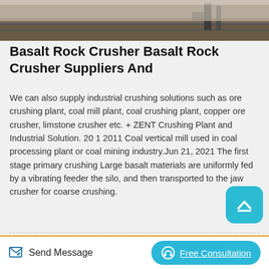[Figure (photo): Outdoor industrial mining/crushing equipment scene, rocky terrain]
Basalt Rock Crusher Basalt Rock Crusher Suppliers And
We can also supply industrial crushing solutions such as ore crushing plant, coal mill plant, coal crushing plant, copper ore crusher, limstone crusher etc. + ZENT Crushing Plant and Industrial Solution. 20 1 2011 Coal vertical mill used in coal processing plant or coal mining industry.Jun 21, 2021 The first stage primary crushing Large basalt materials are uniformly fed by a vibrating feeder the silo, and then transported to the jaw crusher for coarse crushing.
[Figure (photo): Industrial crushing plant machinery with large cone crusher and structural steel framework]
Send Message
Free Consultation